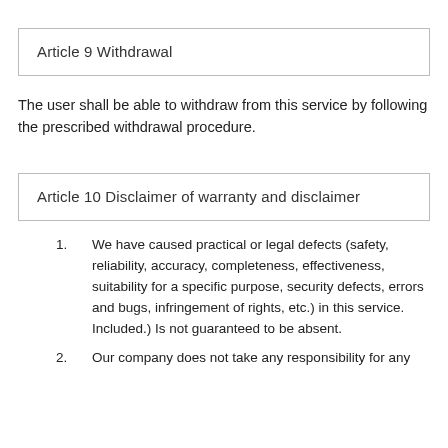Article 9 Withdrawal
The user shall be able to withdraw from this service by following the prescribed withdrawal procedure.
Article 10 Disclaimer of warranty and disclaimer
We have caused practical or legal defects (safety, reliability, accuracy, completeness, effectiveness, suitability for a specific purpose, security defects, errors and bugs, infringement of rights, etc.) in this service. Included.) Is not guaranteed to be absent.
Our company does not take any responsibility for any